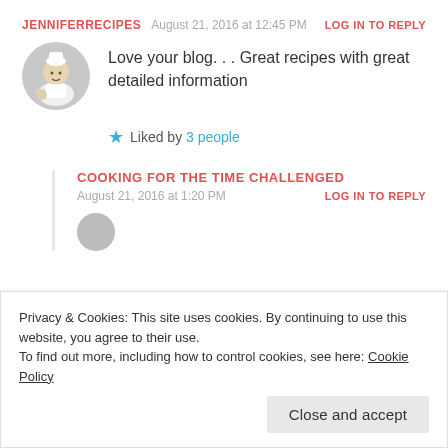JENNIFERRECIPES   August 21, 2016 at 12:45 PM   LOG IN TO REPLY
[Figure (photo): Circular avatar photo of a chef in white uniform preparing food]
Love your blog. . . Great recipes with great detailed information
★ Liked by 3 people
COOKING FOR THE TIME CHALLENGED
August 21, 2016 at 1:20 PM   LOG IN TO REPLY
Privacy & Cookies: This site uses cookies. By continuing to use this website, you agree to their use.
To find out more, including how to control cookies, see here: Cookie Policy
Close and accept